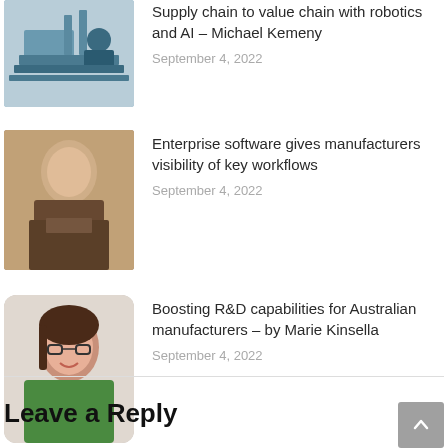[Figure (photo): Image of robotic manufacturing equipment]
Supply chain to value chain with robotics and AI – Michael Kemeny
September 4, 2022
[Figure (photo): Portrait of a man in a suit with arms crossed]
Enterprise software gives manufacturers visibility of key workflows
September 4, 2022
[Figure (photo): Portrait of a woman with glasses in a green top]
Boosting R&D capabilities for Australian manufacturers – by Marie Kinsella
September 4, 2022
Leave a Reply